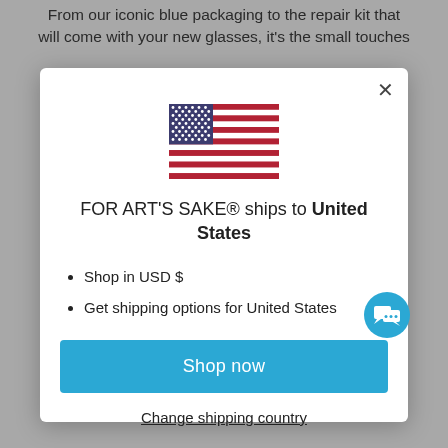From our iconic blue packaging to the repair kit that will come with your new glasses, it's the small touches
[Figure (screenshot): A modal dialog box showing a US flag icon, text 'FOR ART'S SAKE® ships to United States', bullet points for USD and shipping options, a 'Shop now' button, and a 'Change shipping country' link. A teal chat bubble icon appears in the top right of the modal.]